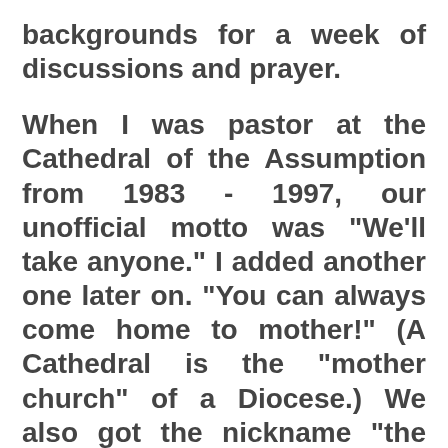backgrounds for a week of discussions and prayer.
When I was pastor at the Cathedral of the Assumption from 1983 - 1997, our unofficial motto was "We'll take anyone." I added another one later on. "You can always come home to mother!" (A Cathedral is the "mother church" of a Diocese.) We also got the nickname "the island of misfit toys." In that Christmas story, that is where broken toys went to be repaired so they, too, could be part of Christmas.